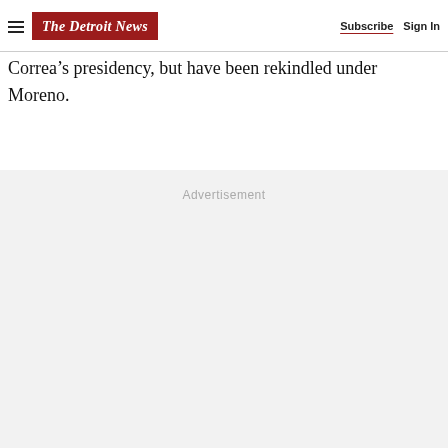The Detroit News | Subscribe | Sign In
Correa’s presidency, but have been rekindled under Moreno.
Advertisement